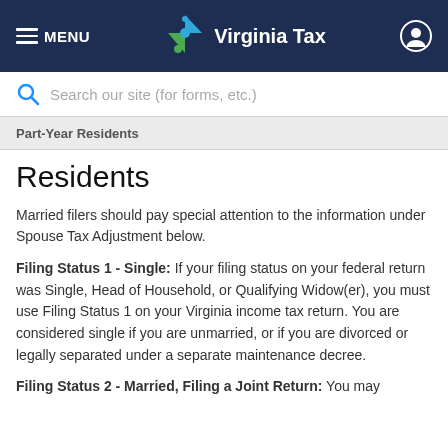MENU | Virginia Tax
Search our site (for forms, etc.)
Part-Year Residents
Residents
Married filers should pay special attention to the information under Spouse Tax Adjustment below.
Filing Status 1 - Single: If your filing status on your federal return was Single, Head of Household, or Qualifying Widow(er), you must use Filing Status 1 on your Virginia income tax return. You are considered single if you are unmarried, or if you are divorced or legally separated under a separate maintenance decree.
Filing Status 2 - Married, Filing a Joint Return: You may